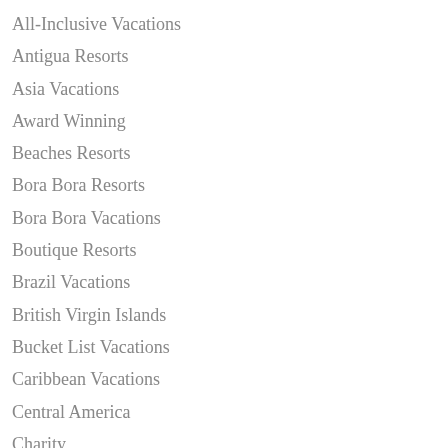All-Inclusive Vacations
Antigua Resorts
Asia Vacations
Award Winning
Beaches Resorts
Bora Bora Resorts
Bora Bora Vacations
Boutique Resorts
Brazil Vacations
British Virgin Islands
Bucket List Vacations
Caribbean Vacations
Central America
Charity
Colorado Vacations